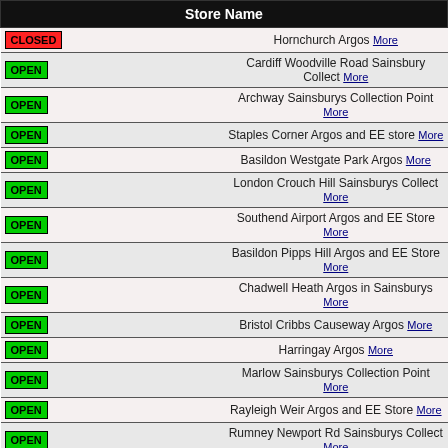| Store Name |
| --- |
| CLOSED | Hornchurch Argos More |
| OPEN | Cardiff Woodville Road Sainsbury Collect More |
| OPEN | Archway Sainsburys Collection Point More |
| OPEN | Staples Corner Argos and EE store More |
| OPEN | Basildon Westgate Park Argos More |
| OPEN | London Crouch Hill Sainsburys Collect More |
| OPEN | Southend Airport Argos and EE Store More |
| OPEN | Basildon Pipps Hill Argos and EE Store More |
| OPEN | Chadwell Heath Argos in Sainsburys More |
| OPEN | Bristol Cribbs Causeway Argos More |
| OPEN | Harringay Argos More |
| OPEN | Marlow Sainsburys Collection Point More |
| OPEN | Rayleigh Weir Argos and EE Store More |
| OPEN | Rumney Newport Rd Sainsburys Collect More |
| OPEN | Harrow Rayners Lane Sainsburys Collect More |
| OPEN | Romford in Sainsburys More |
| CLOSED | Yate Argos More |
| OPEN | Ilford Newbury Park Argos in Sainsburys More |
| OPEN | Bristol Bradley Stoke Argos And EE Store More |
| OPEN | Swindon Bridgemead Argos in Sainsburys More |
| OPEN | Harrow Argos More |
| OPEN | Hendon Superstore Argos in Sainsburys More |